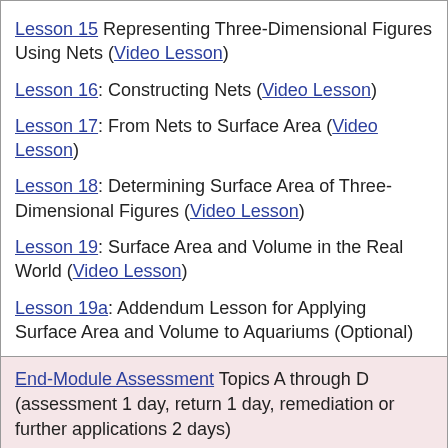Lesson 15 Representing Three-Dimensional Figures Using Nets (Video Lesson)
Lesson 16: Constructing Nets (Video Lesson)
Lesson 17: From Nets to Surface Area (Video Lesson)
Lesson 18: Determining Surface Area of Three-Dimensional Figures (Video Lesson)
Lesson 19: Surface Area and Volume in the Real World (Video Lesson)
Lesson 19a: Addendum Lesson for Applying Surface Area and Volume to Aquariums (Optional)
End-Module Assessment Topics A through D (assessment 1 day, return 1 day, remediation or further applications 2 days)